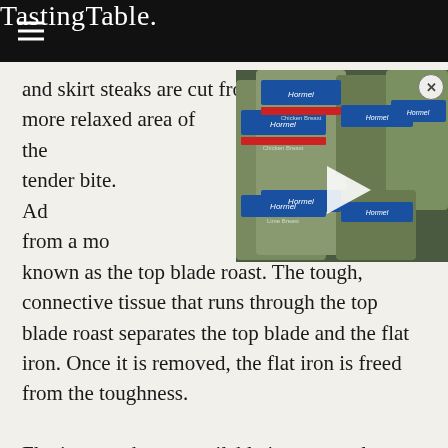Tasting Table.
and skirt steaks are cut from, the chuck is a more relaxed area of the [video] to a more tender bite. Ad[video] steaks are cut from a mo[video] chuck, known as the top blade roast. The tough, connective tissue that runs through the top blade roast separates the top blade and the flat iron. Once it is removed, the flat iron is freed from the toughness.
[Figure (screenshot): Video player overlay showing stacked cans of Hormel chicken breast products with a play button in the center and a close button in the top right.]
Flat iron steaks are available in rectangular shapes similar to flank steaks, but their thickness is uniform (via Food Fire Friends).